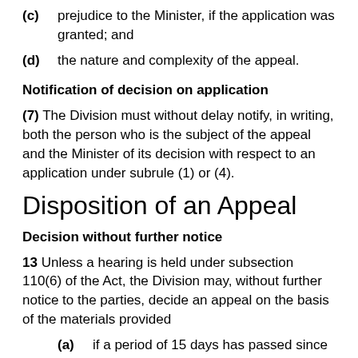(c) prejudice to the Minister, if the application was granted; and
(d) the nature and complexity of the appeal.
Notification of decision on application
(7) The Division must without delay notify, in writing, both the person who is the subject of the appeal and the Minister of its decision with respect to an application under subrule (1) or (4).
Disposition of an Appeal
Decision without further notice
13 Unless a hearing is held under subsection 110(6) of the Act, the Division may, without further notice to the parties, decide an appeal on the basis of the materials provided
(a) if a period of 15 days has passed since the day on which the Minister received the